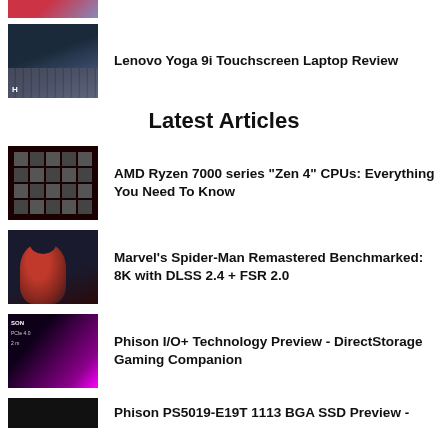[Figure (photo): Partial thumbnail of an article at top of page, cropped]
[Figure (photo): Lenovo Yoga 9i Touchscreen Laptop photo thumbnail]
Lenovo Yoga 9i Touchscreen Laptop Review
Latest Articles
[Figure (photo): AMD Ryzen 7000 series CPU chip photo thumbnail]
AMD Ryzen 7000 series "Zen 4" CPUs: Everything You Need To Know
[Figure (photo): Marvel's Spider-Man Remastered game screenshot thumbnail]
Marvel's Spider-Man Remastered Benchmarked: 8K with DLSS 2.4 + FSR 2.0
[Figure (photo): Phison I/O+ Technology product photo thumbnail]
Phison I/O+ Technology Preview - DirectStorage Gaming Companion
[Figure (photo): Phison PS5019-E19T SSD thumbnail, partially visible]
Phison PS5019-E19T 1113 BGA SSD Preview -